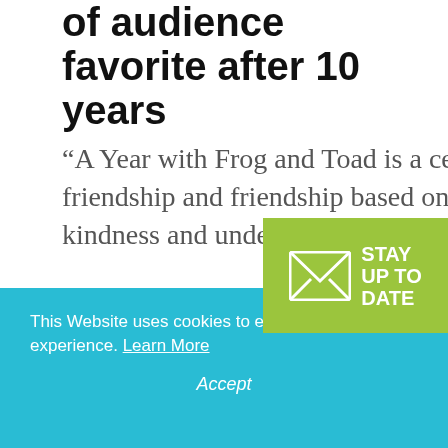of audience favorite after 10 years
“A Year with Frog and Toad is a celebration of friendship and friendship based on patience, kindness and understanding.”
April 3, 2017
[Figure (infographic): Green badge with envelope icon and text STAY UP TO DATE]
This Website uses cookies to enhance your visitor experience. Learn More
Accept